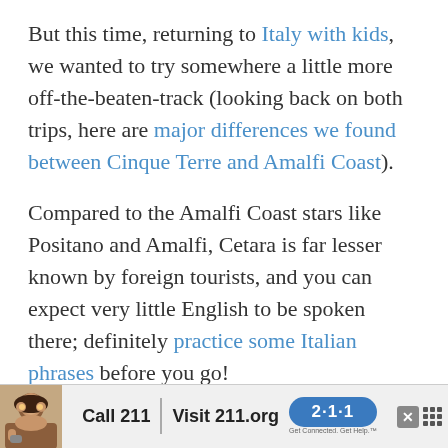But this time, returning to Italy with kids, we wanted to try somewhere a little more off-the-beaten-track (looking back on both trips, here are major differences we found between Cinque Terre and Amalfi Coast).
Compared to the Amalfi Coast stars like Positano and Amalfi, Cetara is far lesser known by foreign tourists, and you can expect very little English to be spoken there; definitely practice some Italian phrases before you go!
[Figure (infographic): Advertisement banner: person on phone, 'Call 211 | Visit 211.org' with blue 2·1·1 badge logo and 'Get Connected. Get Help.' tagline]